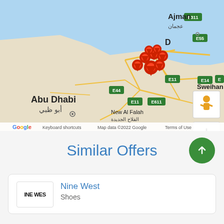[Figure (map): Google Maps view showing UAE region including Dubai, Ajman, Abu Dhabi. Multiple red map pin markers clustered around Dubai area. Map shows road network with labels E311, E55, E44, E611, E11, E14, E20. Shows cities: Ajman (عجمان), Dubai (D), Abu Dhabi (أبو ظبي), Sweihan (سويحان), New Al Falah (الفلاح الجديدة). Google logo bottom left. Controls: pegman icon, zoom +/- buttons. Footer: Keyboard shortcuts | Map data ©2022 Google | Terms of Use]
Similar Offers
[Figure (logo): Nine West brand logo showing 'INE WES' text (Nine West logo partially visible)]
Nine West
Shoes